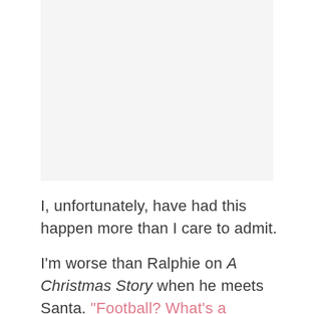[Figure (photo): A light gray/white rectangular image placeholder at the top of the page]
I, unfortunately, have had this happen more than I care to admit.

I'm worse than Ralphie on A Christmas Story when he meets Santa. “Football? What’s a football?”